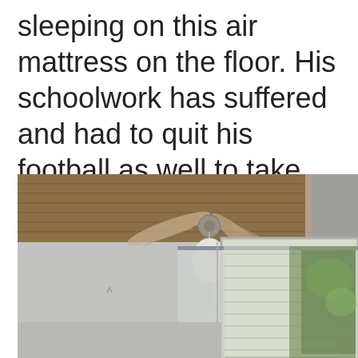sleeping on this air mattress on the floor. His schoolwork has suffered and had to quit his football as well to take care of the family.
[Figure (photo): Interior room photo showing a ceiling with wooden planks and a ceiling fan with a light globe, gray walls, a curtain rod with curtains, and a window with blinds and greenery visible outside.]